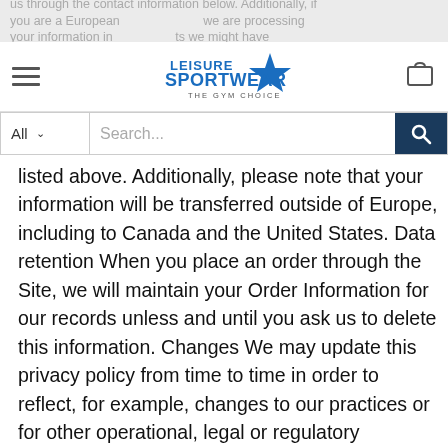us through the contact information below. Additionally, if you are a European ... we are processing your information in ... ts we might have
[Figure (logo): Leisure Sportwear - The Gym Choice logo with blue star]
listed above. Additionally, please note that your information will be transferred outside of Europe, including to Canada and the United States. Data retention When you place an order through the Site, we will maintain your Order Information for our records unless and until you ask us to delete this information. Changes We may update this privacy policy from time to time in order to reflect, for example, changes to our practices or for other operational, legal or regulatory reasons. [[INSERT IF AGE RESTRICTION IS REQUIRED]] Minors The Site is not intended for individuals under the age of [[INSERT AGE]] . Contact us For more information about our privacy practices, if you have questions, or if you would like to make a complaint, please